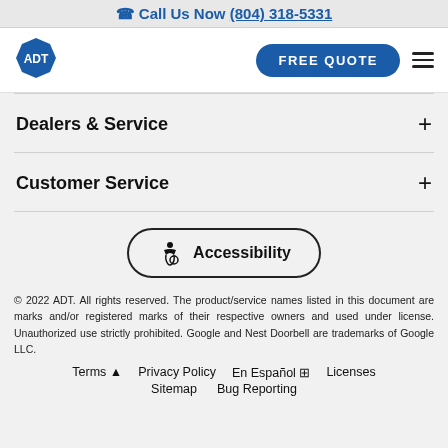Call Us Now (804) 318-5331
[Figure (logo): ADT logo - blue octagon with white ADT text]
Dealers & Service
Customer Service
[Figure (other): Accessibility button with wheelchair icon]
© 2022 ADT. All rights reserved. The product/service names listed in this document are marks and/or registered marks of their respective owners and used under license. Unauthorized use strictly prohibited. Google and Nest Doorbell are trademarks of Google LLC.
Terms  Privacy Policy  En Español  Licenses  Sitemap  Bug Reporting